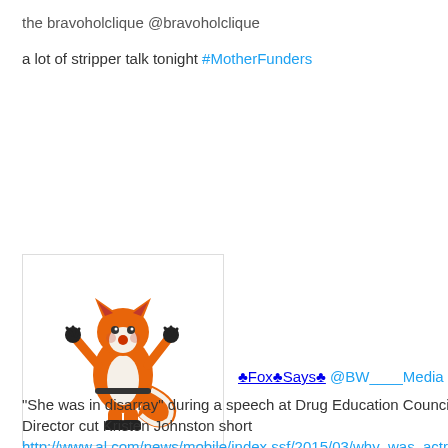the bravoholclique @bravoholclique
a lot of stripper talk tonight #MotherFunders
[Figure (illustration): Fox mascot cartoon character dressed in black with orange fur, posed in a dancing stance]
♣Fox♣Says♣ @BW____Media 2d2 days ago
"She was in disarray" during a speech at Drug Education Council so the Executive Director cut Kristen Johnston short http://www.al.com/news/mobile/index.ssf/2015/03/why_was_actress_kristen_johnst.html ...
♣Fox♣Says♣ retweeted